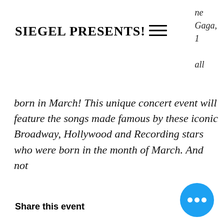SIEGEL PRESENTS!
[Figure (other): Hamburger menu icon (three horizontal lines)]
ne
Gaga,
1
all
born in March! This unique concert event will feature the songs made famous by these iconic Broadway, Hollywood and Recording stars who were born in the month of March. And not
Share this event
[Figure (other): Blue circular floating action button with three white dots (ellipsis)]